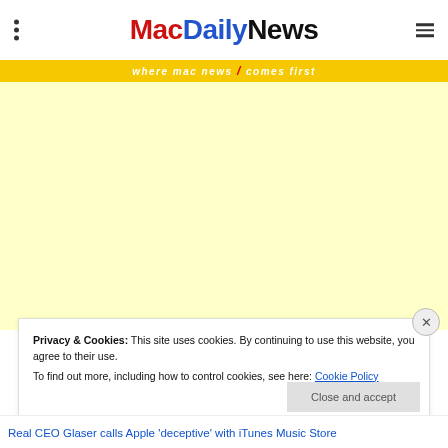MacDailyNews — where mac news comes first
[Figure (other): Yellow advertisement placeholder area]
Privacy & Cookies: This site uses cookies. By continuing to use this website, you agree to their use. To find out more, including how to control cookies, see here: Cookie Policy
Close and accept
Real CEO Glaser calls Apple 'deceptive' with iTunes Music Store